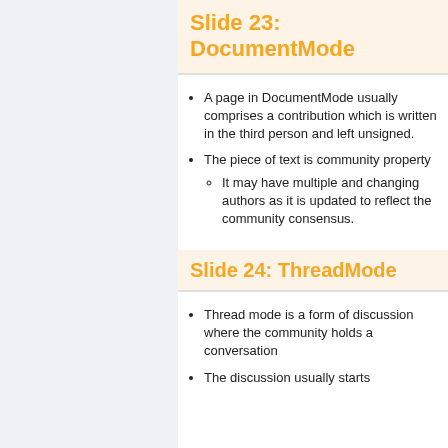Slide 23: DocumentMode
A page in DocumentMode usually comprises a contribution which is written in the third person and left unsigned.
The piece of text is community property
It may have multiple and changing authors as it is updated to reflect the community consensus.
Slide 24: ThreadMode
Thread mode is a form of discussion where the community holds a conversation
The discussion usually starts